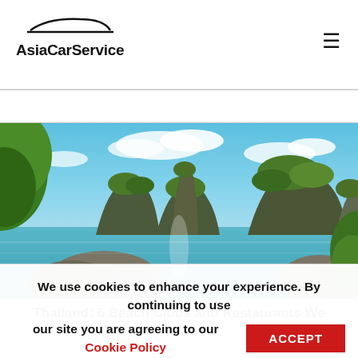AsiaCarService
[Figure (photo): Scenic coastal landscape of Thailand showing limestone karst islands rising from turquoise water, with lush green vegetation, rocky outcrops in the foreground, and a blue sky with white clouds.]
Thailand: 6 Beach Clubs and Restaurants We
We use cookies to enhance your experience. By continuing to use our site you are agreeing to our Cookie Policy ACCEPT